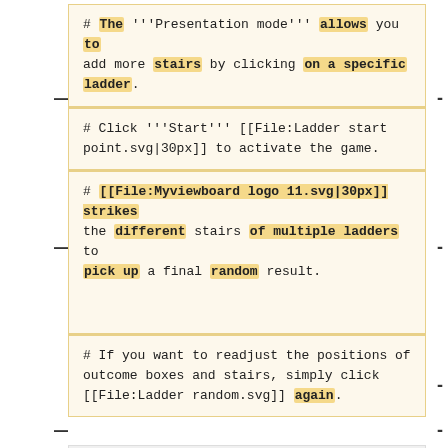# The '''Presentation mode''' allows you to add more stairs by clicking on a specific ladder.
# Click '''Start''' [[File:Ladder start point.svg|30px]] to activate the game.
# [[File:Myviewboard logo 11.svg|30px]] strikes the different stairs of multiple ladders to pick up a final random result.
# If you want to readjust the positions of outcome boxes and stairs, simply click [[File:Ladder random.svg]] again.
{{ent:Blue_note
|1=Resetting the starting point is not possible in the same Ladder Shuffle game. Therefore, you